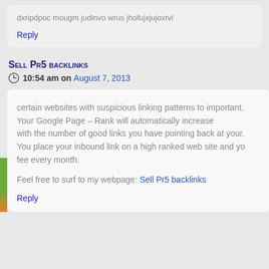dxripdpoc mougm judinvo wrus jhofujxjujoxtvl
Reply
Sell Pr5 backlinks
10:54 am on August 7, 2013
certain websites with suspicious linking patterns to important. Your Google Page – Rank will automatically increase with the number of good links you have pointing back at your. You place your inbound link on a high ranked web site and yo fee every month.
Feel free to surf to my webpage: Sell Pr5 backlinks
Reply